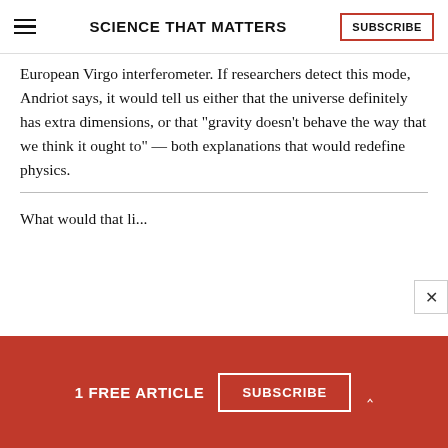SCIENCE THAT MATTERS | SUBSCRIBE
European Virgo interferometer. If researchers detect this mode, Andriot says, it would tell us either that the universe definitely has extra dimensions, or that “gravity doesn’t behave the way that we think it ought to” — both explanations that would redefine physics.
What would that li...
1 FREE ARTICLE SUBSCRIBE